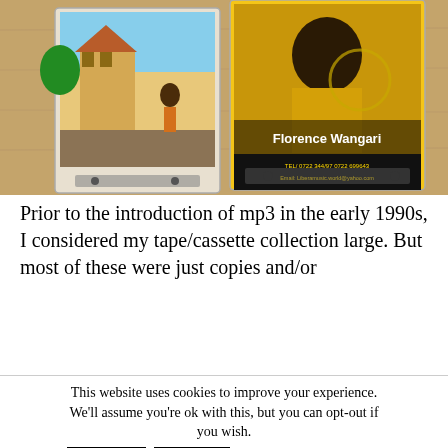[Figure (photo): Photo of two cassette tapes on a wooden surface. The right cassette shows a cover with a person in a yellow shirt with text 'Florence Wangari' and contact details. The left cassette has an illustrated cover with a person near a building.]
Prior to the introduction of mp3 in the early 1990s, I considered my tape/cassette collection large. But most of these were just copies and/or
This website uses cookies to improve your experience. We'll assume you're ok with this, but you can opt-out if you wish. Accept Reject Privacy policy (German only)